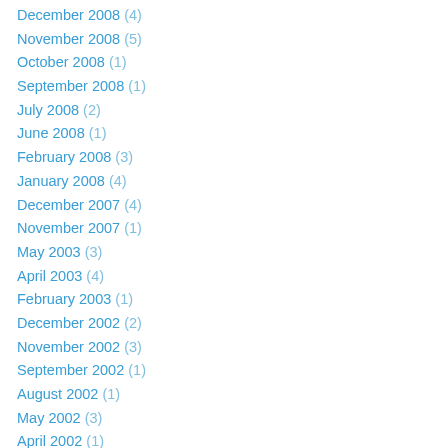December 2008 (4)
November 2008 (5)
October 2008 (1)
September 2008 (1)
July 2008 (2)
June 2008 (1)
February 2008 (3)
January 2008 (4)
December 2007 (4)
November 2007 (1)
May 2003 (3)
April 2003 (4)
February 2003 (1)
December 2002 (2)
November 2002 (3)
September 2002 (1)
August 2002 (1)
May 2002 (3)
April 2002 (1)
March 2002 (1)